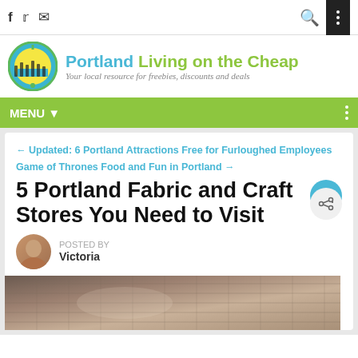Portland Living on the Cheap — Your local resource for freebies, discounts and deals
MENU ▼
← Updated: 6 Portland Attractions Free for Furloughed Employees
Game of Thrones Food and Fun in Portland →
5 Portland Fabric and Craft Stores You Need to Visit
POSTED BY Victoria
[Figure (photo): Close-up photo of fabric or textile material in brown/tan tones]